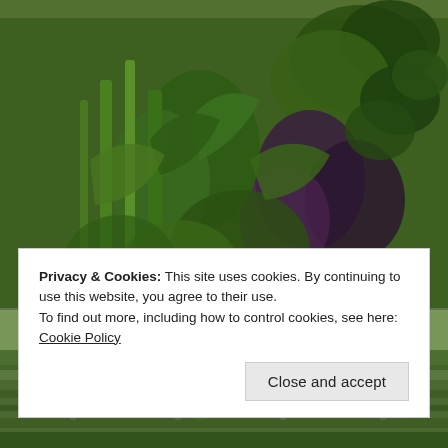[Figure (photo): Two stacked garden photos: top shows a lush vegetable garden with kale, large leafy greens, and purple foliage; bottom shows a garden plot with fence posts and rows of plants, with trees in the background.]
Privacy & Cookies: This site uses cookies. By continuing to use this website, you agree to their use.
To find out more, including how to control cookies, see here: Cookie Policy
Close and accept